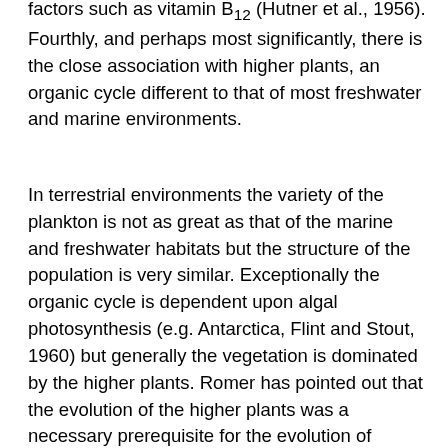factors such as vitamin B12 (Hutner et al., 1956). Fourthly, and perhaps most significantly, there is the close association with higher plants, an organic cycle different to that of most freshwater and marine environments.
In terrestrial environments the variety of the plankton is not as great as that of the marine and freshwater habitats but the structure of the population is very similar. Exceptionally the organic cycle is dependent upon algal photosynthesis (e.g. Antarctica, Flint and Stout, 1960) but generally the vegetation is dominated by the higher plants. Romer has pointed out that the evolution of the higher plants was a necessary prerequisite for the evolution of terrestrial animals and it has also provided a wealth of niches for aquatic